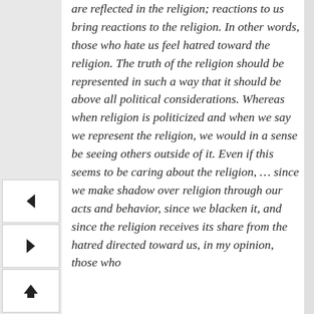are reflected in the religion; reactions to us bring reactions to the religion. In other words, those who hate us feel hatred toward the religion. The truth of the religion should be represented in such a way that it should be above all political considerations. Whereas when religion is politicized and when we say we represent the religion, we would in a sense be seeing others outside of it. Even if this seems to be caring about the religion, … since we make shadow over religion through our acts and behavior, since we blacken it, and since the religion receives its share from the hatred directed toward us, in my opinion, those who